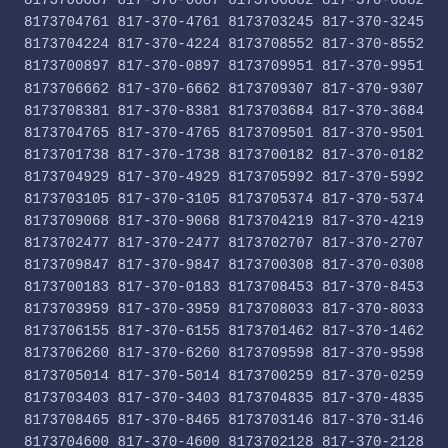8173700929 817-370-0929 8173701009 817-370-1009
8173705606 817-370-5606 8173703190 817-370-3190
8173702440 817-370-2440 8173701068 817-370-1068
8173708080 817-370-8080 8173706398 817-370-6398
8173700087 817-370-0087 8173706882 817-370-6882
8173704761 817-370-4761 8173703245 817-370-3245
8173704224 817-370-4224 8173708552 817-370-8552
8173700897 817-370-0897 8173709951 817-370-9951
8173706662 817-370-6662 8173709307 817-370-9307
8173708381 817-370-8381 8173703684 817-370-3684
8173704765 817-370-4765 8173709501 817-370-9501
8173701738 817-370-1738 8173700182 817-370-0182
8173704929 817-370-4929 8173705992 817-370-5992
8173703105 817-370-3105 8173705374 817-370-5374
8173709068 817-370-9068 8173704219 817-370-4219
8173702477 817-370-2477 8173702707 817-370-2707
8173709847 817-370-9847 8173700308 817-370-0308
8173700183 817-370-0183 8173708453 817-370-8453
8173703959 817-370-3959 8173708033 817-370-8033
8173706155 817-370-6155 8173701462 817-370-1462
8173706260 817-370-6260 8173709598 817-370-9598
8173705014 817-370-5014 8173700259 817-370-0259
8173703403 817-370-3403 8173704835 817-370-4835
8173708465 817-370-8465 8173703146 817-370-3146
8173704600 817-370-4600 8173702128 817-370-2128
8173708096 817-370-8096 8173708833 817-370-8833
8173703714 817-370-3714 8173708820 817-370-8820
8173703063 817-370-3063 8173707302 817-370-7302
8173705893 817-370-5893 8173704289 817-370-4289